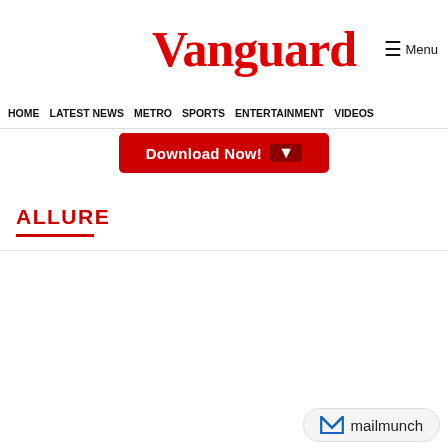Vanguard | Menu
HOME  LATEST NEWS  METRO  SPORTS  ENTERTAINMENT  VIDEOS
[Figure (other): Red Download Now button with downward arrow]
ALLURE
[Figure (logo): mailmunch logo badge at bottom right]